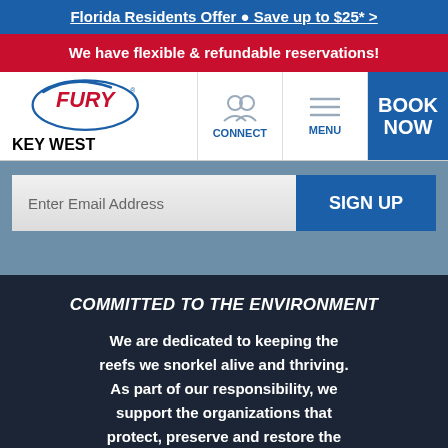Florida Residents Offer • Save up to $25* >
We have flexible & refundable reservations!
[Figure (logo): Fury Key West logo — oval with FURY in red bold letters and KEY WEST in blue beneath]
CONNECT
MENU
BOOK NOW
Enter Email Address
SIGN UP
COMMITTED TO THE ENVIRONMENT
We are dedicated to keeping the reefs we snorkel alive and thriving. As part of our responsibility, we support the organizations that protect, preserve and restore the